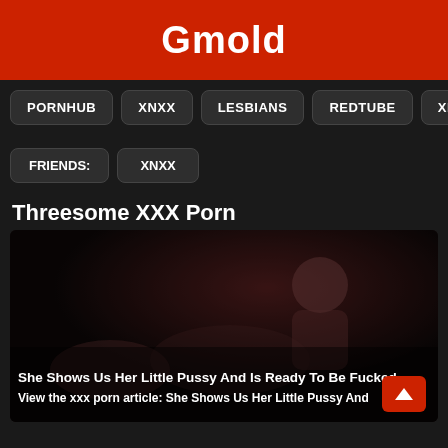Gmold
PORNHUB
XNXX
LESBIANS
REDTUBE
XHAMSTE
FRIENDS:
XNXX
Threesome XXX Porn
[Figure (photo): Dark thumbnail image of adult content]
She Shows Us Her Little Pussy And Is Ready To Be Fucked
View the xxx porn article: She Shows Us Her Little Pussy And